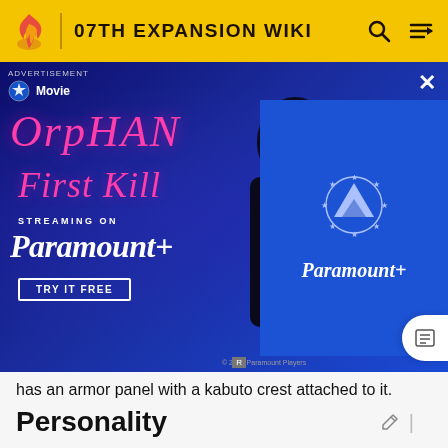07TH EXPANSION WIKI
[Figure (photo): Advertisement banner for Orphan: First Kill streaming on Paramount+. Shows movie title in pink italic font, a dark-clothed person, and Paramount+ logo on blue background. Includes 'TRY IT FREE' button.]
has an armor panel with a kabuto crest attached to it.
Personality
Momotake speaks in an archaic way. He holds a lot of respect towards Lingji and tries to make himself look responsible. He holds strong to his ideals, even if he may face consequences for them.
Momotake's attempts to look cool and strong often